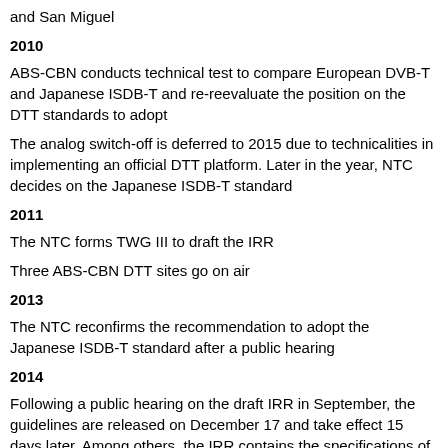and San Miguel
2010
ABS-CBN conducts technical test to compare European DVB-T and Japanese ISDB-T and re-reevaluate the position on the DTT standards to adopt
The analog switch-off is deferred to 2015 due to technicalities in implementing an official DTT platform. Later in the year, NTC decides on the Japanese ISDB-T standard
2011
The NTC forms TWG III to draft the IRR
Three ABS-CBN DTT sites go on air
2013
The NTC reconfirms the recommendation to adopt the Japanese ISDB-T standard after a public hearing
2014
Following a public hearing on the draft IRR in September, the guidelines are released on December 17 and take effect 15 days later. Among others, the IRR contains the specifications of the set-top boxes and a timeline of the